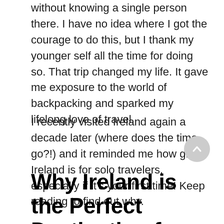without knowing a single person there. I have no idea where I got the courage to do this, but I thank my younger self all the time for doing so. That trip changed my life. It gave me exposure to the world of backpacking and sparked my lifelong love of travel.
I recently visited Ireland again a decade later (where does the time go?!) and it reminded me how great Ireland is for solo travelers, especially if it's your first time! Keep reading to find out why.
Why Ireland is the Perfect Destination for